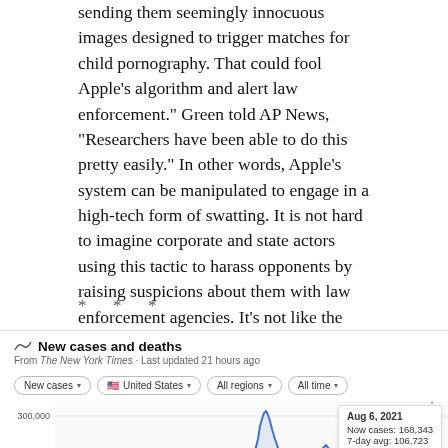sending them seemingly innocuous images designed to trigger matches for child pornography. That could fool Apple's algorithm and alert law enforcement.” Green told AP News, “Researchers have been able to do this pretty easily.” In other words, Apple’s system can be manipulated to engage in a high-tech form of swatting. It is not hard to imagine corporate and state actors using this tactic to harass opponents by raising suspicions about them with law enforcement agencies. It’s not like the deep state hasn’t done things like this before.
* * *
[Figure (line-chart): Screenshot of a Google/NYT COVID-19 new cases chart for the United States, all time, showing a large peak around early 2021 and a rising trend around Aug 6, 2021. Tooltip shows: Aug 6, 2021, Now cases: 168,343, 7-day avg: 106,723. Y-axis labels: 300,000 and 200,000.]